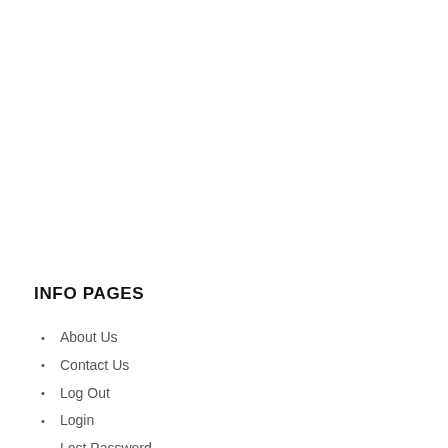INFO PAGES
About Us
Contact Us
Log Out
Login
Lost Password
Our Partners